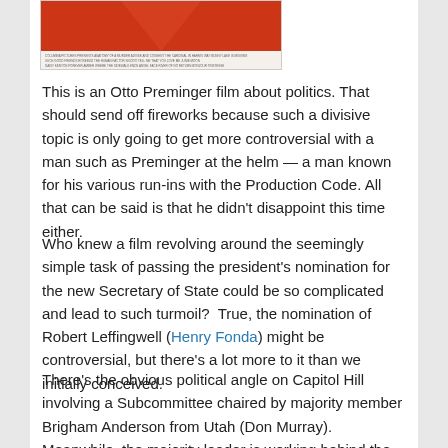[Figure (illustration): Top portion of a movie poster with red/orange background and text lines at the bottom]
This is an Otto Preminger film about politics. That should send off fireworks because such a divisive topic is only going to get more controversial with a man such as Preminger at the helm — a man known for his various run-ins with the Production Code. All that can be said is that he didn't disappoint this time either.
Who knew a film revolving around the seemingly simple task of passing the president's nomination for the new Secretary of State could be so complicated and lead to such turmoil?  True, the nomination of Robert Leffingwell (Henry Fonda) might be controversial, but there's a lot more to it than we initially conceived.
There's the obvious political angle on Capitol Hill involving a Subcommittee chaired by majority member Brigham Anderson from Utah (Don Murray). Meanwhile, the majority leader is working behind the scenes to gather the necessary support, since he is loyal to the president